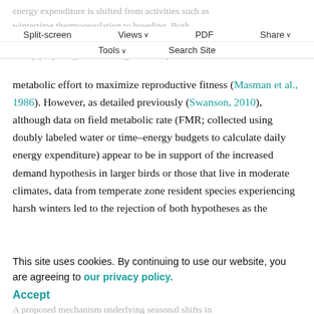energy expenditure is shifted from activities such as wintertime thermoregulation to breeding. Both hypotheses are based on an interpretation of life history theory proposing that breeding should represent maximal
Split-screen | Views | PDF | Share | Tools | Search Site
metabolic effort to maximize reproductive fitness (Masman et al., 1986). However, as detailed previously (Swanson, 2010), although data on field metabolic rate (FMR; collected using doubly labeled water or time–energy budgets to calculate daily energy expenditure) appear to be in support of the increased demand hypothesis in larger birds or those that live in moderate climates, data from temperate zone resident species experiencing harsh winters led to the rejection of both hypotheses as the
seasons
This site uses cookies. By continuing to use our website, you are agreeing to our privacy policy. Accept
A proposed mechanism underlying seasonal shifts in